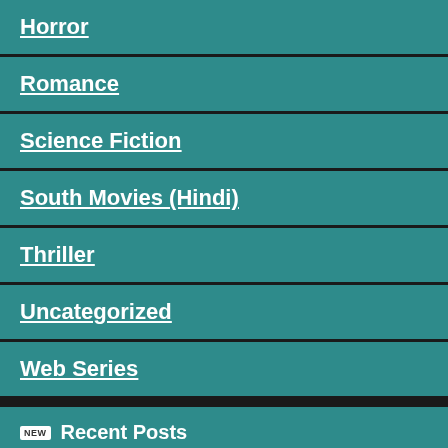Horror
Romance
Science Fiction
South Movies (Hindi)
Thriller
Uncategorized
Web Series
Recent Posts
[Figure (photo): Movie poster thumbnail showing group of people]
[Figure (photo): Movie poster thumbnail showing a person]